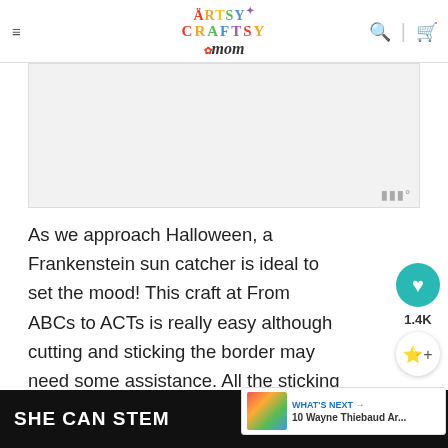Artsy Craftsy Mom — navigation bar with hamburger menu, logo, search and cart icons
[Figure (other): Advertisement / placeholder image area with watermark 'W°' in bottom right corner]
As we approach Halloween, a Frankenstein sun catcher is ideal to set the mood! This craft at From ABCs to ACTs is really easy although cutting and sticking the border may need some assistance. All the sticking is super easy and can ev...
SHE CAN STEM — dark bottom banner with W° watermark